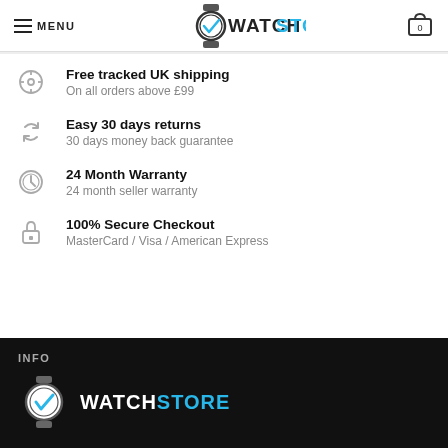MENU | WATCHSTORE | 0
Free tracked UK shipping
On all orders above £99
Easy 30 days returns
30 days money back guarantee
24 Month Warranty
24 month seller warranty
100% Secure Checkout
MasterCard / Visa / American Express
INFO
WATCHSTORE